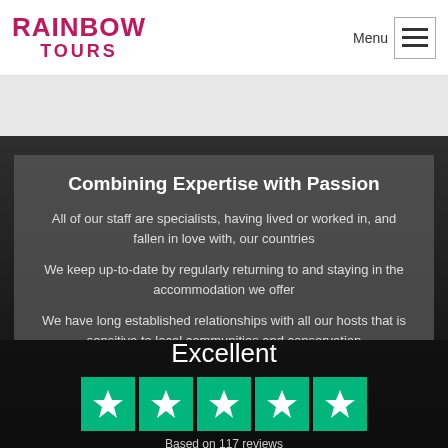RAINBOW TOURS
Combining Expertise with Passion
All of our staff are specialists, having lived or worked in, and fallen in love with, our countries
We keep up-to-date by regularly returning to and staying in the accommodation we offer
We have long established relationships with all our hosts that is sensitive to local communities and conservation
Excellent
[Figure (other): Trustpilot five green star rating boxes]
Based on 117 reviews